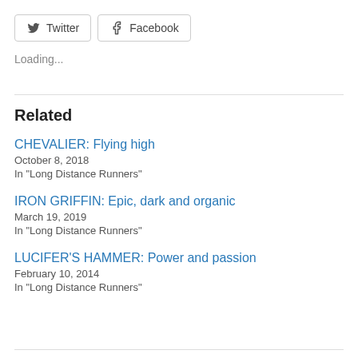[Figure (other): Twitter and Facebook social share buttons]
Loading...
Related
CHEVALIER: Flying high
October 8, 2018
In "Long Distance Runners"
IRON GRIFFIN: Epic, dark and organic
March 19, 2019
In "Long Distance Runners"
LUCIFER'S HAMMER: Power and passion
February 10, 2014
In "Long Distance Runners"